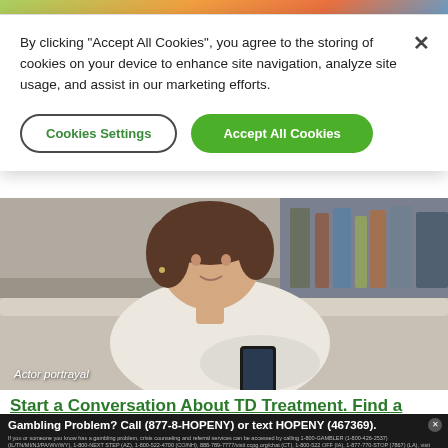[Figure (photo): Top decorative colorful strip from a website header]
By clicking "Accept All Cookies", you agree to the storing of cookies on your device to enhance site navigation, analyze site usage, and assist in our marketing efforts.
Cookies Settings
Accept All Cookies
[Figure (photo): Middle-aged woman with short brown hair sitting on a couch looking at her smartphone. Caption reads 'Actor portrayal'.]
Actor portrayal
Start a Conversation About TD Treatment. Find a
Gambling Problem? Call (877-8-HOPENY) or text HOPENY (467369).
If you or someone you know has a gambling problem, crisis counseling and referral services can be accessed by calling 1-800-GAMBLER (1-800-426-2537) (IL/TN/MI/NJ/PA/WV/WY), 1-800-NEXT STEP (AZ), 1-800-522-4700 (CO/NH), 888-789-7777/visit ccpg.org/chat (CT), 1-800-522 OFF (IA), 1-877-770-STOP (7867) (LA), visit OPGR.org (OR), call/text TN REDLINE 1-800-889-9789 (TN), or 1-888-532-3500 (VA).